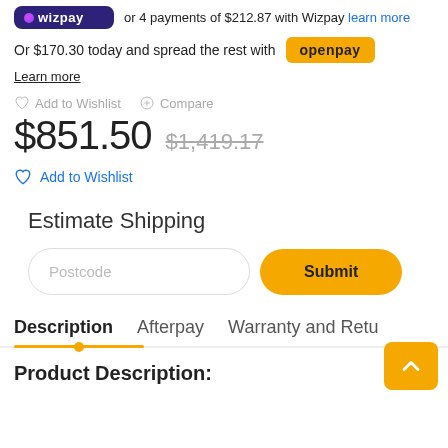or 4 payments of $212.87 with Wizpay learn more
Or $170.30 today and spread the rest with openpay
Learn more
Add to Wishlist   Compare
$851.50  $1,419.17
Add to Wishlist
Estimate Shipping
Postcode  Submit
Description   Afterpay   Warranty and Retu
Product Description: